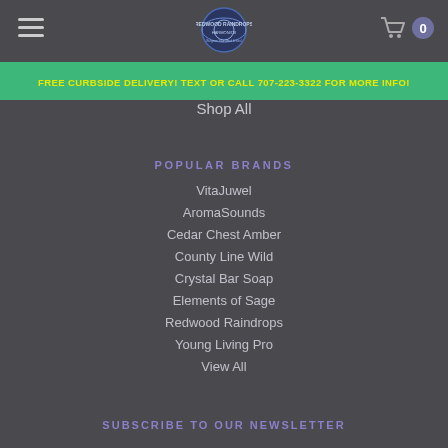Redwood Raindrops Harmonics - Navigation Header with logo and cart
FREE CURBSIDE DELIVERY! TEXT OR CALL 707-223-3322 FOR MORE INFO!
Shop All
POPULAR BRANDS
VitaJuwel
AromaSounds
Cedar Chest Amber
County Line Wild
Crystal Bar Soap
Elements of Sage
Redwood Raindrops
Young Living Pro
View All
SUBSCRIBE TO OUR NEWSLETTER